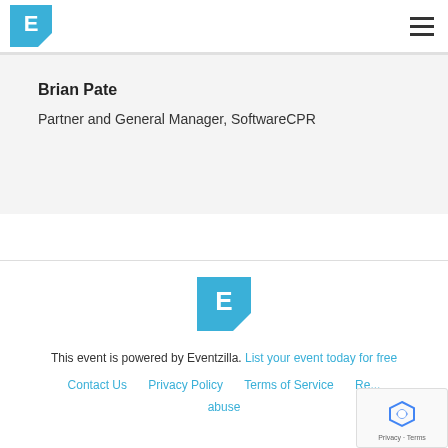Eventzilla logo and navigation menu
Brian Pate
Partner and General Manager, SoftwareCPR
[Figure (logo): Eventzilla logo - blue square with white E letter and triangular cut corner, centered in footer]
This event is powered by Eventzilla. List your event today for free
Contact Us   Privacy Policy   Terms of Service   Re... abuse